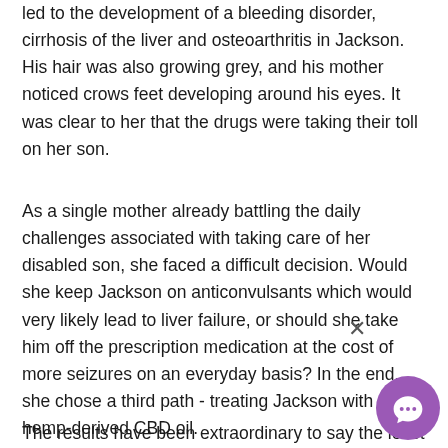led to the development of a bleeding disorder, cirrhosis of the liver and osteoarthritis in Jackson. His hair was also growing grey, and his mother noticed crows feet developing around his eyes. It was clear to her that the drugs were taking their toll on her son.
As a single mother already battling the daily challenges associated with taking care of her disabled son, she faced a difficult decision. Would she keep Jackson on anticonvulsants which would very likely lead to liver failure, or should she take him off the prescription medication at the cost of more seizures on an everyday basis? In the end, she chose a third path - treating Jackson with hemp-derived CBD oil.
The results have been extraordinary to say the least